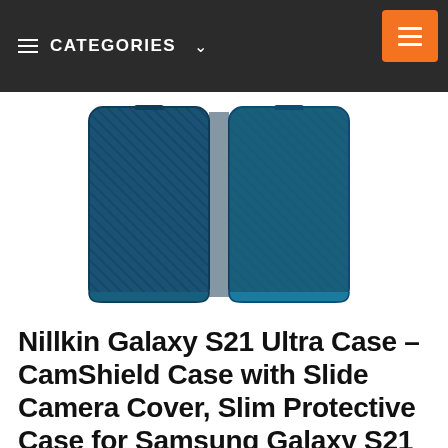CATEGORIES
[Figure (photo): Two navy blue Nillkin CamShield cases for Samsung Galaxy S21 Ultra shown side by side, front and back view, with diagonal carbon fiber texture pattern]
Nillkin Galaxy S21 Ultra Case – CamShield Case with Slide Camera Cover, Slim Protective Case for Samsung Galaxy S21 Ultra 6.8 inch,